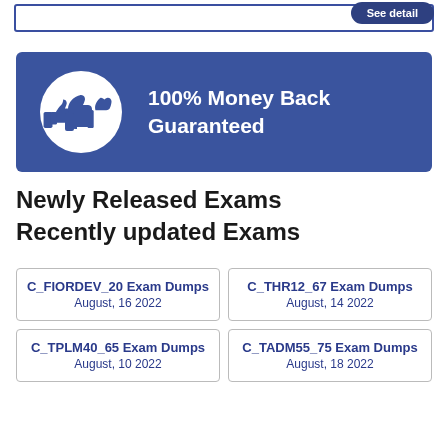[Figure (other): Top bar with See detail button]
[Figure (infographic): Blue banner with thumbs up icon and text: 100% Money Back Guaranteed]
Newly Released Exams
Recently updated Exams
C_FIORDEV_20 Exam Dumps
August, 16 2022
C_THR12_67 Exam Dumps
August, 14 2022
C_TPLM40_65 Exam Dumps
August, 10 2022
C_TADM55_75 Exam Dumps
August, 18 2022